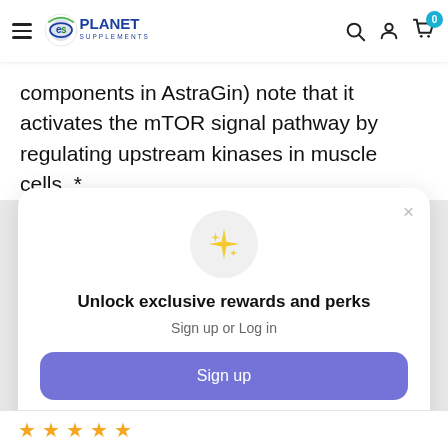Planet Supplements - navigation header with logo, search, account, and cart icons
components in AstraGin) note that it activates the mTOR signal pathway by regulating upstream kinases in muscle cells. *
[Figure (screenshot): Loyalty rewards modal popup with sparkle icon, 'Unlock exclusive rewards and perks' heading, Sign up or Log in text, Sign up button, and Already have an account? Sign in link]
Unlock exclusive rewards and perks
Sign up or Log in
Already have an account? Sign in